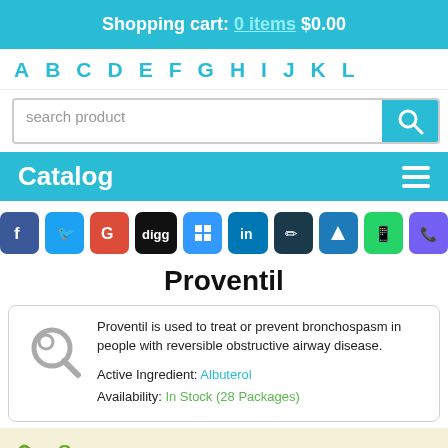Shopping cart: 0 items $0.00
A B C D E F G H I J K L
search product
Catalog
[Figure (infographic): Social sharing icons: Facebook, Twitter, Google+, Digg, Delicious, LinkedIn, Myspace, Twitterfeed, WhatsApp, Viber]
Proventil
Proventil is used to treat or prevent bronchospasm in people with reversible obstructive airway disease.
Active Ingredient: Albuterol
Availability: In Stock (28 Packages)
Save your money